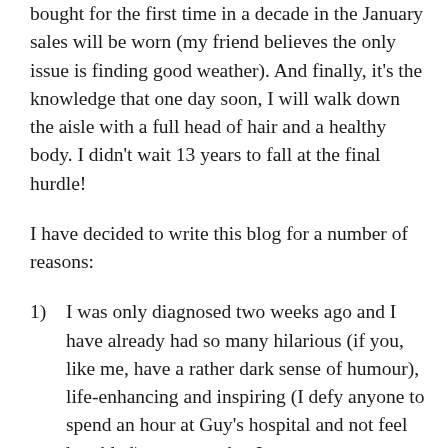bought for the first time in a decade in the January sales will be worn (my friend believes the only issue is finding good weather). And finally, it's the knowledge that one day soon, I will walk down the aisle with a full head of hair and a healthy body. I didn't wait 13 years to fall at the final hurdle!
I have decided to write this blog for a number of reasons:
1)  I was only diagnosed two weeks ago and I have already had so many hilarious (if you, like me, have a rather dark sense of humour), life-enhancing and inspiring (I defy anyone to spend an hour at Guy's hospital and not feel humbled) moments that I want to capture, share and remember forever.